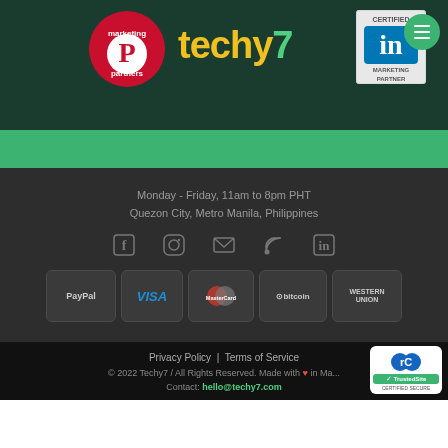[Figure (logo): Techy7 website header with Pinterest Marketing Partners badge, techy7 green/yellow logo, LinkedIn Certified Marketing Partner badge, and hamburger menu button on dark green background with green bar below]
Monday - Friday, 11am to 8pm PHT
Quezon City, Metro Manila, Philippines
[Figure (infographic): Social media icons row: Facebook, Instagram, Email, RSS feed, LinkedIn — all in gray on dark background]
[Figure (infographic): Payment method badges: PayPal, VISA, MasterCard, Bitcoin, Western Union]
Privacy Policy  |  Terms of Service
© 2022 Techy7 / All Rights Reserved. Made with ❤ in Ma...
Contact: hello@techy7.com